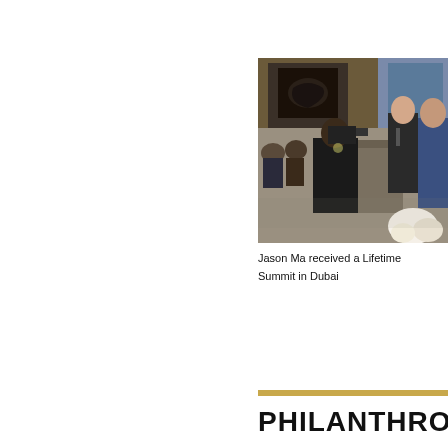[Figure (photo): Event photo showing people at a podium/stage. A person with a camera films two individuals at a lectern, with a large projection screen visible in the background. Audience visible in background.]
Jason Ma received a Lifetime… Summit in Dubai
PHILANTHROPY